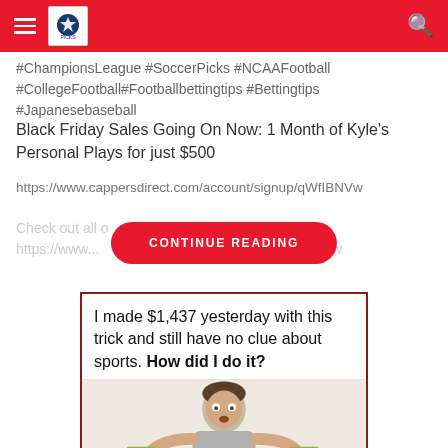[navigation header with hamburger menu, logo, and search icon]
#ChampionsLeague #SoccerPicks #NCAAFootball #CollegeFootball#Footballbettingtips #Bettingtips #Japanesebaseball
Black Friday Sales Going On Now: 1 Month of Kyle's Personal Plays for just $500
https://www.cappersdirect.com/account/signup/qWfIBNVw
Check out all o...   https://www...  ...account/signup/qWfIBNVw
CONTINUE READING
[Figure (infographic): Ad box with dark red border containing text: I made $1,437 yesterday with this trick and still have no clue about sports. How did I do it? With an image of a surprised man holding money below.]